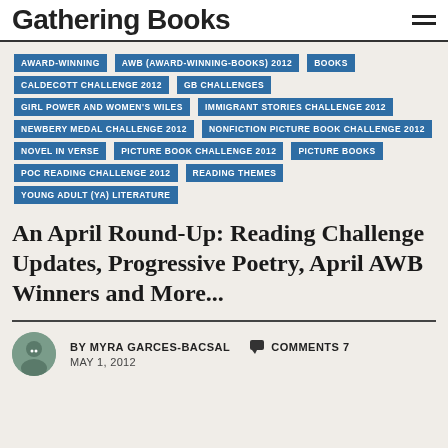Gathering Books
AWARD-WINNING
AWB (AWARD-WINNING-BOOKS) 2012
BOOKS
CALDECOTT CHALLENGE 2012
GB CHALLENGES
GIRL POWER AND WOMEN'S WILES
IMMIGRANT STORIES CHALLENGE 2012
NEWBERY MEDAL CHALLENGE 2012
NONFICTION PICTURE BOOK CHALLENGE 2012
NOVEL IN VERSE
PICTURE BOOK CHALLENGE 2012
PICTURE BOOKS
POC READING CHALLENGE 2012
READING THEMES
YOUNG ADULT (YA) LITERATURE
An April Round-Up: Reading Challenge Updates, Progressive Poetry, April AWB Winners and More...
BY MYRA GARCES-BACSAL   COMMENTS 7   MAY 1, 2012